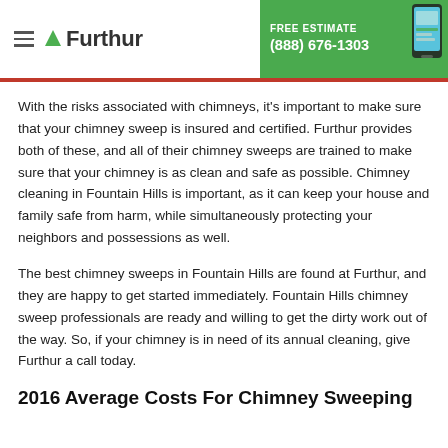Furthur — FREE ESTIMATE (888) 676-1303
With the risks associated with chimneys, it's important to make sure that your chimney sweep is insured and certified. Furthur provides both of these, and all of their chimney sweeps are trained to make sure that your chimney is as clean and safe as possible. Chimney cleaning in Fountain Hills is important, as it can keep your house and family safe from harm, while simultaneously protecting your neighbors and possessions as well.
The best chimney sweeps in Fountain Hills are found at Furthur, and they are happy to get started immediately. Fountain Hills chimney sweep professionals are ready and willing to get the dirty work out of the way. So, if your chimney is in need of its annual cleaning, give Furthur a call today.
2016 Average Costs For Chimney Sweeping